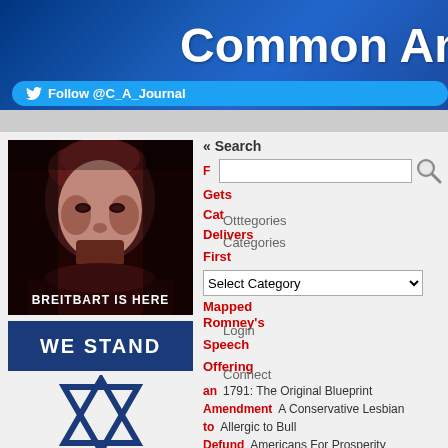Common Ame
Follow @C_A_Journal
[Figure (photo): Black and white poster-style photo of Andrew Breitbart with text 'BREITBART IS HERE' at the bottom]
[Figure (illustration): Blue box with text 'WE STAND' and Star of David below]
« Search
Gets
Cat
Otttegories
Delivers
Categories
First
Mapped
Romney's
Login
Speech
Offering
Connect
Select Category dropdown
1791: The Original Blueprint
A Conservative Lesbian
Allergic to Bull
Americans For Prosperity
Ann Barnhardt
Bob McCarty Writes
Bookworm Room